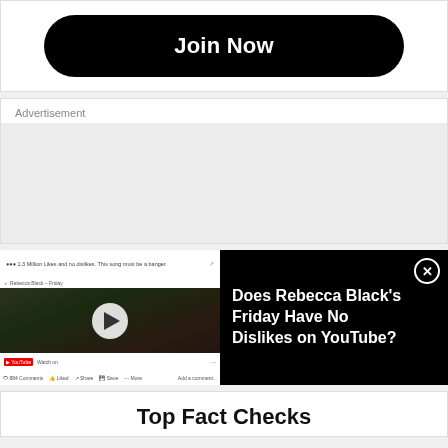Join Now
Advertisement
[Figure (screenshot): A YouTube comment thread screenshot showing a video of Rebecca Black - Friday with a play button overlay, top comment text reading '1.3 Million Likes and no dislikes. This song must be a banger', below a white top bar with metadata]
Does Rebecca Black's Friday Have No Dislikes on YouTube?
Top Fact Checks